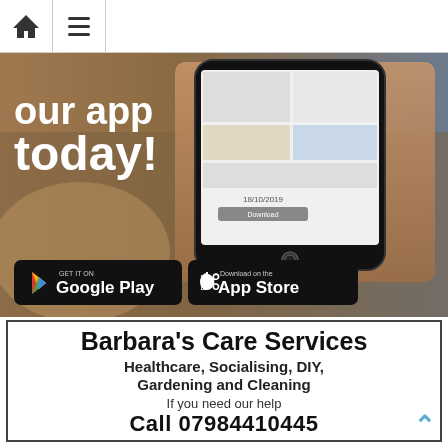[Figure (screenshot): Navigation bar with home icon and hamburger menu icon]
[Figure (photo): App promotion banner showing a hand holding a smartphone with text 'our app today!' and Google Play and App Store download buttons]
Barbara's Care Services
Healthcare, Socialising, DIY, Gardening and Cleaning
If you need our help
Call 07984410445